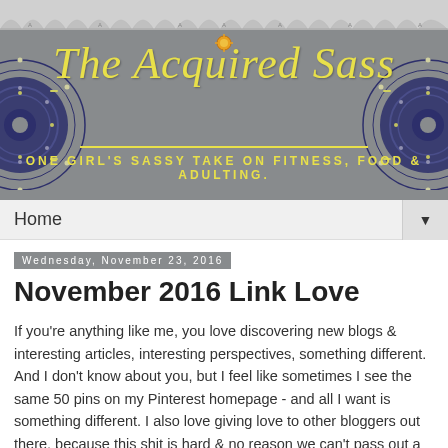[Figure (illustration): Blog header banner for 'The Acquired Sass' with gray background, yellow script title text, decorative mandala circles on left and right, scallop pattern at top, sun icon above title, yellow horizontal lines, and yellow uppercase subtitle 'ONE GIRL'S SASSY TAKE ON FITNESS, FOOD & ADULTING.']
Home ▼
Wednesday, November 23, 2016
November 2016 Link Love
If you're anything like me, you love discovering new blogs & interesting articles, interesting perspectives, something different. And I don't know about you, but I feel like sometimes I see the same 50 pins on my Pinterest homepage - and all I want is something different. I also love giving love to other bloggers out there, because this shit is hard & no reason we can't pass out a little extra love.